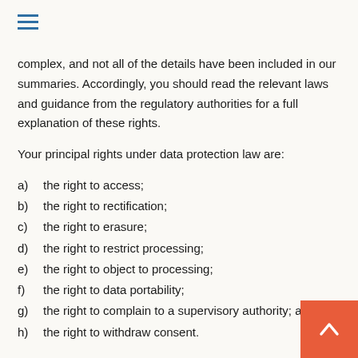≡ (hamburger menu icon)
complex, and not all of the details have been included in our summaries. Accordingly, you should read the relevant laws and guidance from the regulatory authorities for a full explanation of these rights.
Your principal rights under data protection law are:
a)   the right to access;
b)   the right to rectification;
c)   the right to erasure;
d)   the right to restrict processing;
e)   the right to object to processing;
f)   the right to data portability;
g)   the right to complain to a supervisory authority; a
h)   the right to withdraw consent.